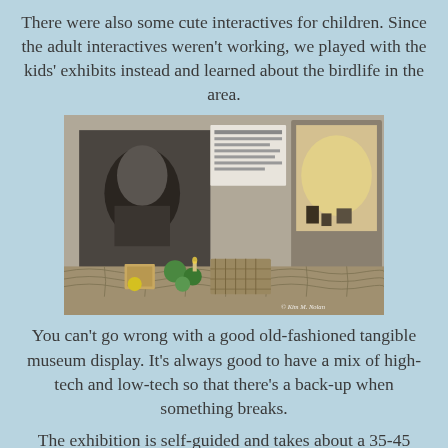There were also some cute interactives for children. Since the adult interactives weren't working, we played with the kids' exhibits instead and learned about the birdlife in the area.
[Figure (photo): Museum display showing fishing/maritime artifacts including nets, buoys, wooden crates, and black-and-white photographs on the wall. A watermark reads '© Kim M. Nolan' in the bottom right corner.]
You can't go wrong with a good old-fashioned tangible museum display. It's always good to have a mix of high-tech and low-tech so that there's a back-up when something breaks.
The exhibition is self-guided and takes about a 35-45